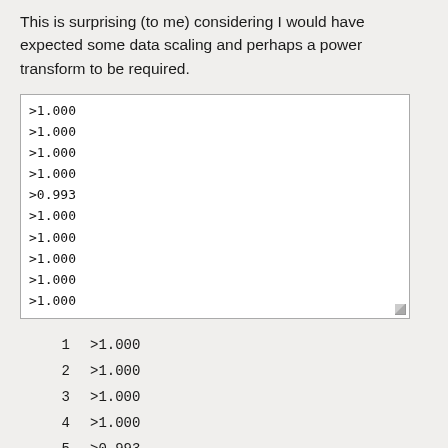This is surprising (to me) considering I would have expected some data scaling and perhaps a power transform to be required.
[Figure (screenshot): A text box / code output area showing 10 lines each with a value: >1.000 (nine times) and >0.993 (once, at line 5)]
|  |  |
| --- | --- |
| 1 | >1.000 |
| 2 | >1.000 |
| 3 | >1.000 |
| 4 | >1.000 |
| 5 | >0.993 |